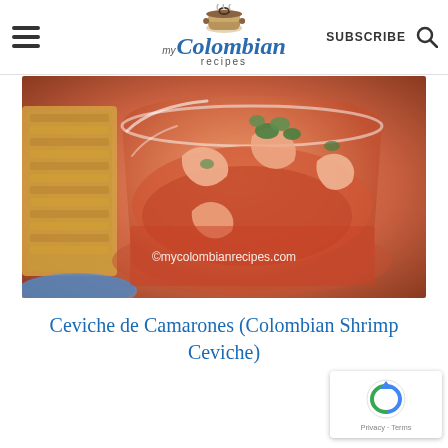my Colombian recipes — SUBSCRIBE
[Figure (photo): A glass bowl filled with Colombian shrimp ceviche — shrimp and vegetables in tomato-based sauce with cilantro, alongside a fried patacon, with watermark ©mycolombianrecipes.com]
Ceviche de Camarones (Colombian Shrimp Ceviche)